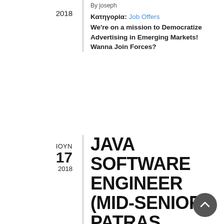2018
By joseph
Κατηγορία: Job Offers
We're on a mission to Democratize Advertising in Emerging Markets! Wanna Join Forces?
ΙΟΥΝ 17 2018
JAVA SOFTWARE ENGINEER (MID-SENIOR), PATRAS
By zaro
Κατηγορία: Job Offers
Java Software Engineer (Mid-Senior), Patras, Greece · Backend
DESCRIPTION
ZuluTrade, the world-leader who has transformed the Forex market, by providing the opportunity to